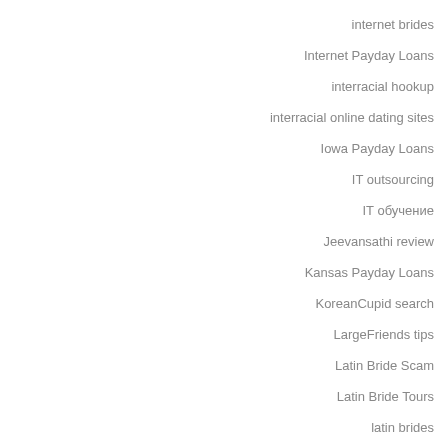internet brides
Internet Payday Loans
interracial hookup
interracial online dating sites
Iowa Payday Loans
IT outsourcing
IT обучение
Jeevansathi review
Kansas Payday Loans
KoreanCupid search
LargeFriends tips
Latin Bride Scam
Latin Bride Tours
latin brides
Latin Brides Gallery